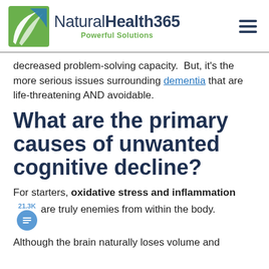NaturalHealth365 — Powerful Solutions
decreased problem-solving capacity.  But, it's the more serious issues surrounding dementia that are life-threatening AND avoidable.
What are the primary causes of unwanted cognitive decline?
For starters, oxidative stress and inflammation are truly enemies from within the body.
Although the brain naturally loses volume and